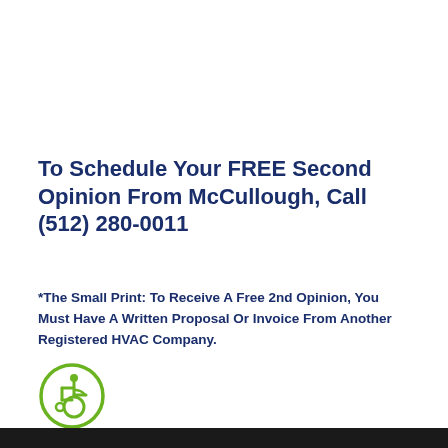To Schedule Your FREE Second Opinion From McCullough, Call (512) 280-0011
*The Small Print: To Receive A Free 2nd Opinion, You Must Have A Written Proposal Or Invoice From Another Registered HVAC Company.
[Figure (illustration): Wheelchair accessibility icon — a stylized figure in a wheelchair inside a green circle outline.]